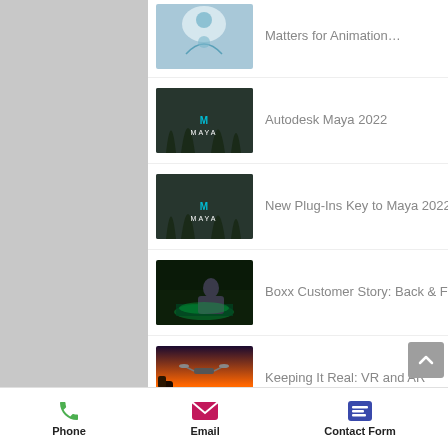Matters for Animation…
Autodesk Maya 2022
New Plug-Ins Key to Maya 2022
Boxx Customer Story: Back & Forth and Weirdly Split
Keeping It Real: VR and AR
Phone  Email  Contact Form